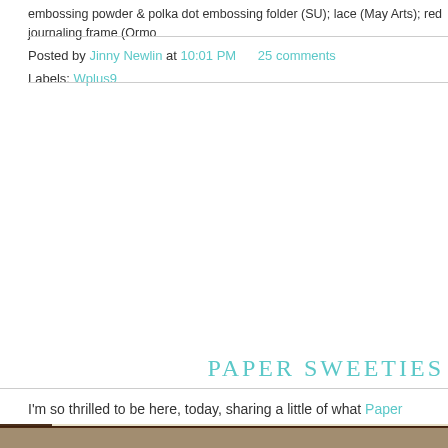embossing powder & polka dot embossing folder (SU); lace (May Arts); red journaling frame (Ormo...
Posted by Jinny Newlin at 10:01 PM    25 comments
Labels: Wplus9
PAPER SWEETIES
I'm so thrilled to be here, today, sharing a little of what Paper Sweeties has i...
[Figure (photo): Handmade greeting card with fall theme: scarecrow, sunflowers, Happy Fall Y'all banner on red plaid ribbon, zigzag stitched border on yellow mat, autumn leaves, set against dark wicker background]